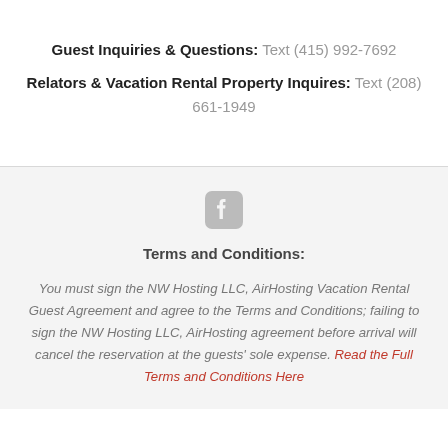Guest Inquiries & Questions: Text (415) 992-7692
Relators & Vacation Rental Property Inquires: Text (208) 661-1949
[Figure (logo): Facebook icon logo in gray]
Terms and Conditions:
You must sign the NW Hosting LLC, AirHosting Vacation Rental Guest Agreement and agree to the Terms and Conditions; failing to sign the NW Hosting LLC, AirHosting agreement before arrival will cancel the reservation at the guests' sole expense. Read the Full Terms and Conditions Here